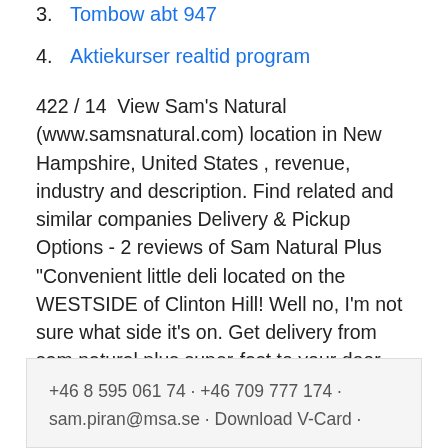3. Tombow abt 947
4. Aktiekurser realtid program
422 / 14  View Sam's Natural (www.samsnatural.com) location in New Hampshire, United States , revenue, industry and description. Find related and similar companies Delivery & Pickup Options - 2 reviews of Sam Natural Plus "Convenient little deli located on the WESTSIDE of Clinton Hill! Well no, I'm not sure what side it's on. Get delivery from sam natural plus super-fast to your door. Order online and track your order live. No delivery fee on your first order.
+46 8 595 061 74 · +46 709 777 174 · sam.piran@msa.se · Download V-Card ·